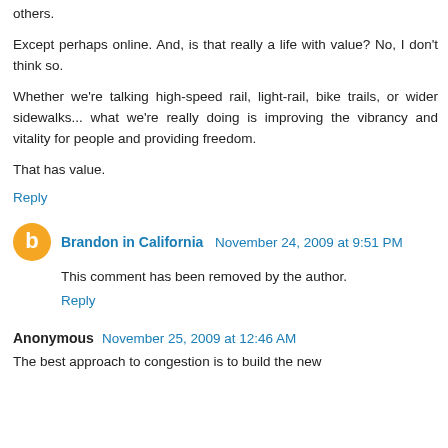others.
Except perhaps online. And, is that really a life with value? No, I don't think so.
Whether we're talking high-speed rail, light-rail, bike trails, or wider sidewalks... what we're really doing is improving the vibrancy and vitality for people and providing freedom.
That has value.
Reply
Brandon in California  November 24, 2009 at 9:51 PM
This comment has been removed by the author.
Reply
Anonymous  November 25, 2009 at 12:46 AM
The best approach to congestion is to build the new